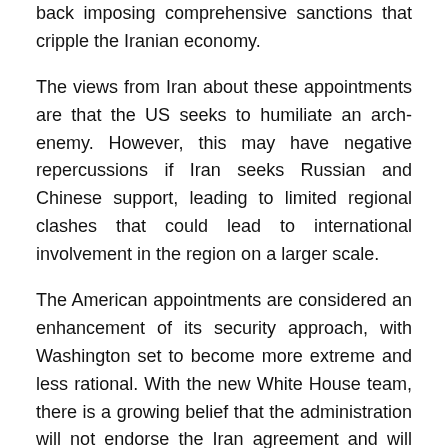back imposing comprehensive sanctions that cripple the Iranian economy.
The views from Iran about these appointments are that the US seeks to humiliate an arch-enemy. However, this may have negative repercussions if Iran seeks Russian and Chinese support, leading to limited regional clashes that could lead to international involvement in the region on a larger scale.
The American appointments are considered an enhancement of its security approach, with Washington set to become more extreme and less rational. With the new White House team, there is a growing belief that the administration will not endorse the Iran agreement and will renew all US sanctions on Tehran, meaning Iran will likely act on its threat to resume the production of highly enriched uranium within five days of the deal being revoked. This will drive the whole region to a nuclear arms race.
Britain, France and Germany had proposed new EU sanctions